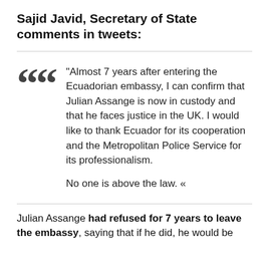Sajid Javid, Secretary of State comments in tweets:
“Almost 7 years after entering the Ecuadorian embassy, I can confirm that Julian Assange is now in custody and that he faces justice in the UK. I would like to thank Ecuador for its cooperation and the Metropolitan Police Service for its professionalism.

No one is above the law. «
Julian Assange had refused for 7 years to leave the embassy, saying that if he did, he would be